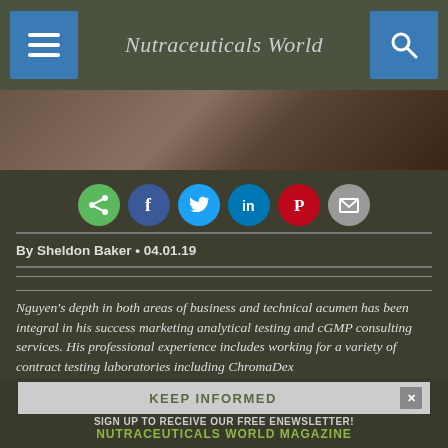Nutraceuticals World
[Figure (photo): Photo strip showing partial view of people at top of article]
[Figure (infographic): Social sharing buttons row: share (green), Facebook (dark blue), Twitter (blue), LinkedIn (teal), Pinterest (red/brown), Email (gray)]
By Sheldon Baker • 04.01.19
Nguyen's depth in both areas of business and technical acumen has been integral in his success marketing analytical testing and cGMP consulting services. His professional experience includes working for a variety of contract testing laboratories including ChromaDex
[Figure (infographic): Keep Informed banner: KEEP INFORMED / SIGN UP TO RECEIVE OUR FREE ENEWSLETTER! / NUTRACEUTICALS WORLD MAGAZINE]